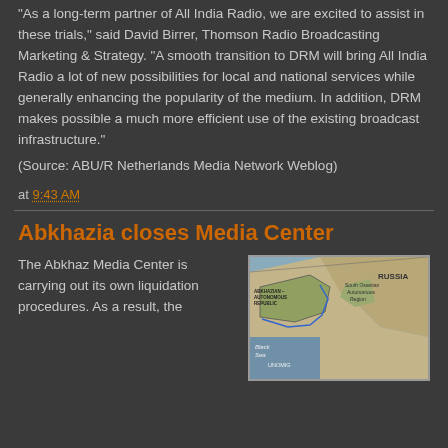“As a long-term partner of All India Radio, we are excited to assist in these trials,” said David Birrer, Thomson Radio Broadcasting Marketing & Strategy. “A smooth transition to DRM will bring All India Radio a lot of new possibilities for local and national services while generally enhancing the popularity of the medium. In addition, DRM makes possible a much more efficient use of the existing broadcast infrastructure.”
(Source: ABU/R Netherlands Media Network Weblog)
at 9:43 AM
Abkhazia closes Media Center
The Abkhaz Media Center is carrying out its own liquidation procedures. As a result, the
[Figure (map): Map showing Abkhazia region including Russia, South Ossetian Autonomous Region, Black Sea, and UNOMIG label]